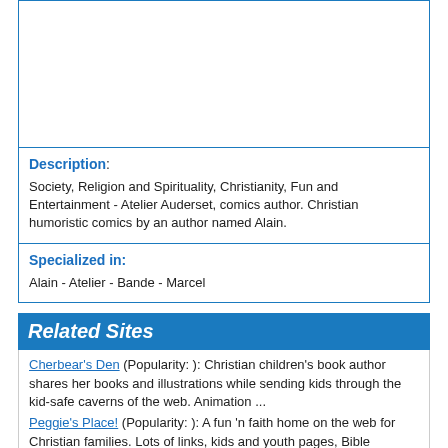Description:
Society, Religion and Spirituality, Christianity, Fun and Entertainment - Atelier Auderset, comics author. Christian humoristic comics by an author named Alain.
Specialized in:
Alain - Atelier - Bande - Marcel
Related Sites
Cherbear's Den (Popularity: ): Christian children's book author shares her books and illustrations while sending kids through the kid-safe caverns of the web. Animation ...
Peggie's Place! (Popularity: ): A fun 'n faith home on the web for Christian families. Lots of links, kids and youth pages, Bible resources, ...
Bible Puzzles (Popularity: ): New and old Bible-based puzzles and games, including Bible Hangman, Scryptograms, and an original Bible Treasure Hunt.
Boinger the Cheerful Bunny (Popularity: ): Bible-based adventure stories in